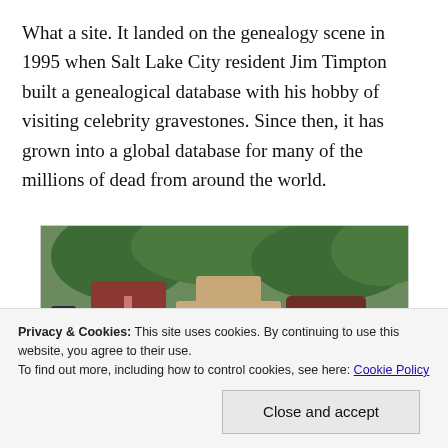What a site. It landed on the genealogy scene in 1995 when Salt Lake City resident Jim Timpton built a genealogical database with his hobby of visiting celebrity gravestones. Since then, it has grown into a global database for many of the millions of dead from around the world.
[Figure (photo): Cemetery photo showing multiple gravestones and crosses of varying styles and colors including dark reddish-brown granite headstones with Orthodox crosses, a large stone cross in the center, and text visible on some stones including 'ZINAS W. BRIND' and 'TAVASIEF'. Trees are visible in the background.]
Privacy & Cookies: This site uses cookies. By continuing to use this website, you agree to their use.
To find out more, including how to control cookies, see here: Cookie Policy
Close and accept